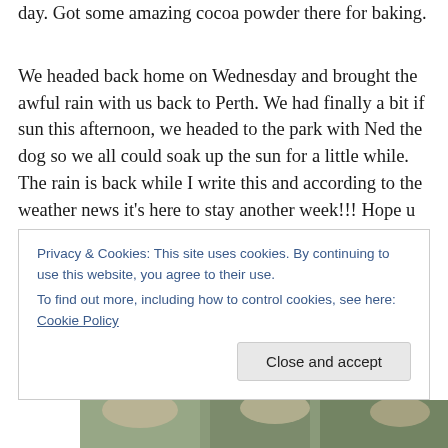day. Got some amazing cocoa powder there for baking.

We headed back home on Wednesday and brought the awful rain with us back to Perth. We had finally a bit if sun this afternoon, we headed to the park with Ned the dog so we all could soak up the sun for a little while. The rain is back while I write this and according to the weather news it's here to stay another week!!! Hope u guys enjoy the
Privacy & Cookies: This site uses cookies. By continuing to use this website, you agree to their use.
To find out more, including how to control cookies, see here: Cookie Policy
Close and accept
[Figure (photo): Partial photo strip at bottom of page showing people outdoors]